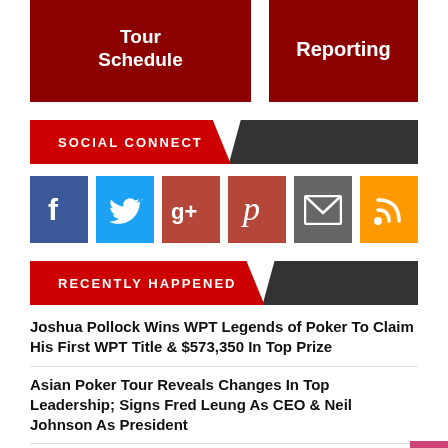[Figure (other): Two red navigation buttons: 'Tour Schedule' and 'Reporting']
SOCIAL CONNECT
[Figure (infographic): Social media icons: Facebook, Twitter, Google+, Pinterest, Email, RSS]
RECENTLY HAPPENED
Joshua Pollock Wins WPT Legends of Poker To Claim His First WPT Title & $573,350 In Top Prize
Asian Poker Tour Reveals Changes In Top Leadership; Signs Fred Leung As CEO & Neil Johnson As President